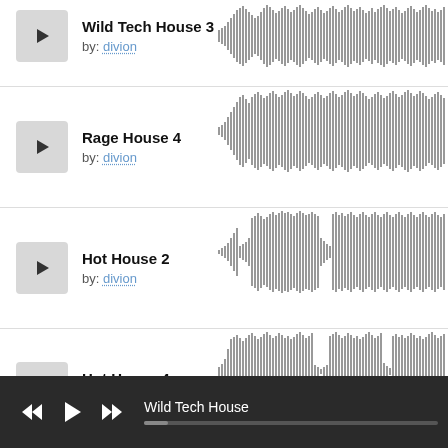Wild Tech House 3 by: divion
[Figure (continuous-plot): Audio waveform for Wild Tech House 3]
Rage House 4 by: divion
[Figure (continuous-plot): Audio waveform for Rage House 4]
Hot House 2 by: divion
[Figure (continuous-plot): Audio waveform for Hot House 2]
Hot House 4 by: divion
[Figure (continuous-plot): Audio waveform for Hot House 4]
Wild Tech House